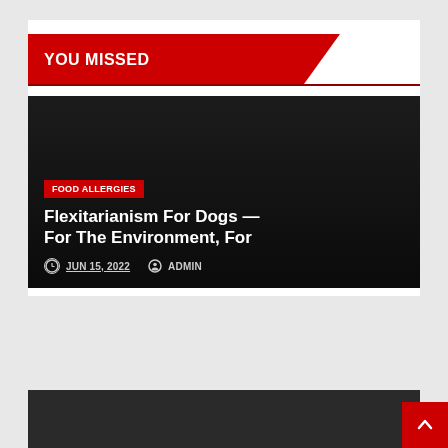YOU MISSED
Flexitarianism For Dogs — For The Environment, For
FOOD ALLERGIES
JUN 15, 2022  ADMIN